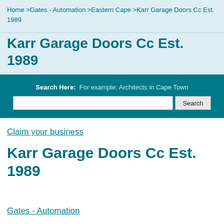Home >Gates - Automation >Eastern Cape >Karr Garage Doors Cc Est. 1989
Karr Garage Doors Cc Est. 1989
[Figure (screenshot): Search banner with label 'Search Here: For example: Architects in Cape Town', a text input field, and a Search button, on a teal background.]
Claim your business
Karr Garage Doors Cc Est. 1989
Gates - Automation